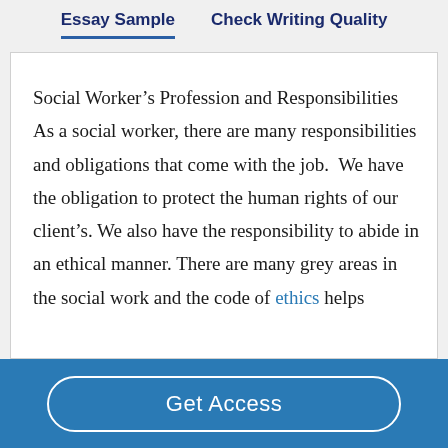Essay Sample  Check Writing Quality
Social Worker’s Profession and Responsibilities As a social worker, there are many responsibilities and obligations that come with the job.  We have the obligation to protect the human rights of our client’s. We also have the responsibility to abide in an ethical manner. There are many grey areas in the social work and the code of ethics helps
Get Access